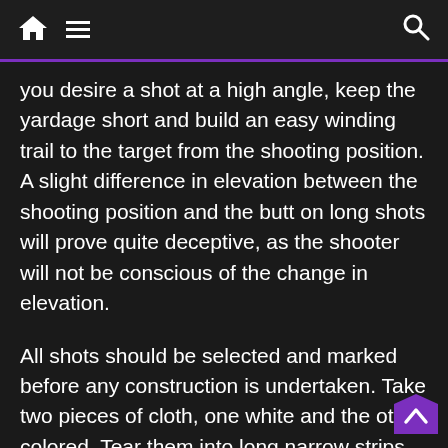Home | Menu | Search
you desire a shot at a high angle, keep the yardage short and build an easy winding trail to the target from the shooting position. A slight difference in elevation between the shooting position and the butt on long shots will prove quite deceptive, as the shooter will not be conscious of the change in elevation.
All shots should be selected and marked before any construction is undertaken. Take two pieces of cloth, one white and the other colored. Tear them into long narrow strips. When you have selected a tentative site for a shot, tie a white strip on a limb or bush, or affix a stake at the spot to mark the shooting position; and in like manner tie a colored strip at the proposed site of the target or butt.